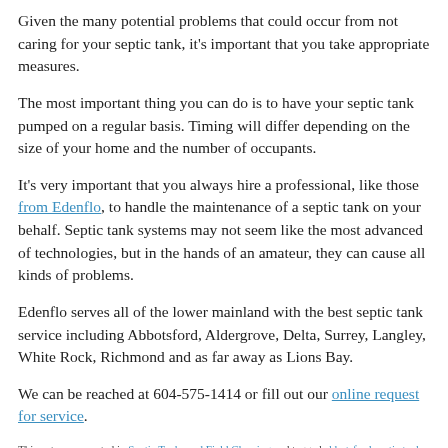Given the many potential problems that could occur from not caring for your septic tank, it's important that you take appropriate measures.
The most important thing you can do is to have your septic tank pumped on a regular basis. Timing will differ depending on the size of your home and the number of occupants.
It's very important that you always hire a professional, like those from Edenflo, to handle the maintenance of a septic tank on your behalf. Septic tank systems may not seem like the most advanced of technologies, but in the hands of an amateur, they can cause all kinds of problems.
Edenflo serves all of the lower mainland with the best septic tank service including Abbotsford, Aldergrove, Delta, Surrey, Langley, White Rock, Richmond and as far away as Lions Bay.
We can be reached at 604-575-1414 or fill out our online request for service.
This entry was posted in Septic Tanks and Field Cleaning and tagged abbotsford septic tank service, aldergrove septic tank cleaning, best septic service Delta, best septic service Langley, Best septic tank service Aldergrove, best septic tank service Lions Bay, Best Septic Tank Service Richmond, Best